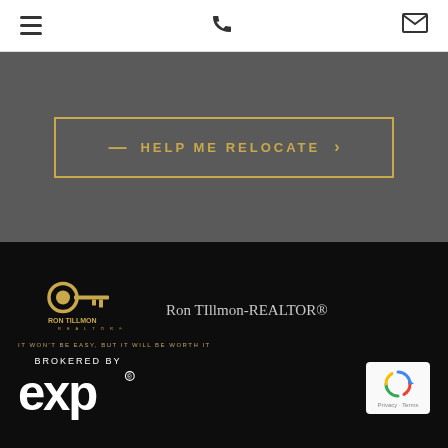[Figure (screenshot): Navigation bar with hamburger menu icon (left), phone icon (center), and envelope/mail icon (right) on white background.]
[Figure (screenshot): Dark gray section with a gold-bordered button containing text '— HELP ME RELOCATE >']
[Figure (logo): Ron Tillmon Realtor logo in gold on black background with key icon and 'RON TILLMON REALTOR' text. Tagline: IT WON'T BE EASY, BUT IT WILL BE WORTH IT]
Ron TIllmon-REALTOR®
[Figure (logo): BROKERED BY eXp realty logo in white on black background with registered trademark symbol.]
[Figure (screenshot): reCAPTCHA widget with circular arrow icon and 'Privacy - Terms' text]